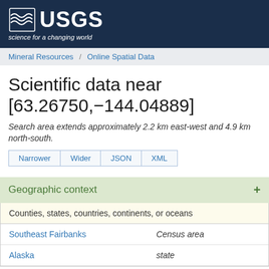USGS science for a changing world
Mineral Resources / Online Spatial Data
Scientific data near [63.26750,-144.04889]
Search area extends approximately 2.2 km east-west and 4.9 km north-south.
Narrower | Wider | JSON | XML
Geographic context
| Counties, states, countries, continents, or oceans |  |
| --- | --- |
| Southeast Fairbanks | Census area |
| Alaska | state |